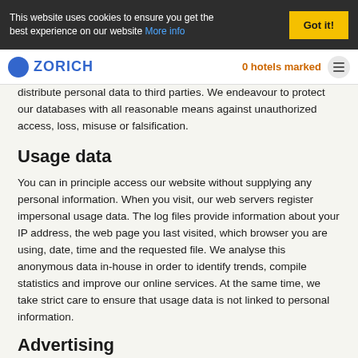This website uses cookies to ensure you get the best experience on our website More info
0 hotels marked
distribute personal data to third parties. We endeavour to protect our databases with all reasonable means against unauthorized access, loss, misuse or falsification.
Usage data
You can in principle access our website without supplying any personal information. When you visit, our web servers register impersonal usage data. The log files provide information about your IP address, the web page you last visited, which browser you are using, date, time and the requested file. We analyse this anonymous data in-house in order to identify trends, compile statistics and improve our online services. At the same time, we take strict care to ensure that usage data is not linked to personal information.
Advertising
For advertising purposes, we reserve the right to store your first and last name, your postal address as well as your title, academic degree, industry or business name, if available, and use them to